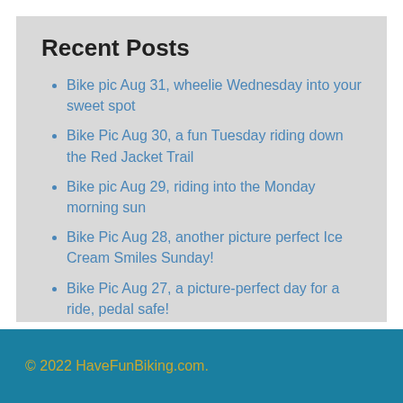Recent Posts
Bike pic Aug 31, wheelie Wednesday into your sweet spot
Bike Pic Aug 30, a fun Tuesday riding down the Red Jacket Trail
Bike pic Aug 29, riding into the Monday morning sun
Bike Pic Aug 28, another picture perfect Ice Cream Smiles Sunday!
Bike Pic Aug 27, a picture-perfect day for a ride, pedal safe!
© 2022 HaveFunBiking.com.